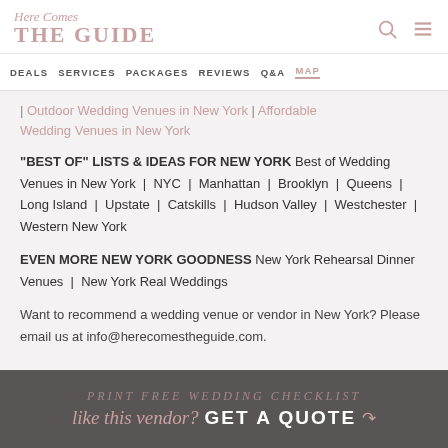Here Comes THE GUIDE
DEALS | SERVICES | PACKAGES | REVIEWS | Q&A | MAP
| Outdoor Wedding Venues in New York | Affordable Wedding Venues in New York
"BEST OF" LISTS & IDEAS FOR NEW YORK Best of Wedding Venues in New York | NYC | Manhattan | Brooklyn | Queens | Long Island | Upstate | Catskills | Hudson Valley | Westchester | Western New York
EVEN MORE NEW YORK GOODNESS New York Rehearsal Dinner Venues | New York Real Weddings
Want to recommend a wedding venue or vendor in New York? Please email us at info@herecomestheguide.com.
like this vendor? GET A QUOTE